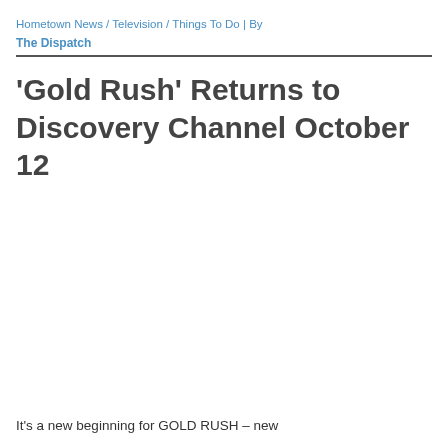Hometown News / Television / Things To Do | By The Dispatch
'Gold Rush' Returns to Discovery Channel October 12
It's a new beginning for GOLD RUSH – new